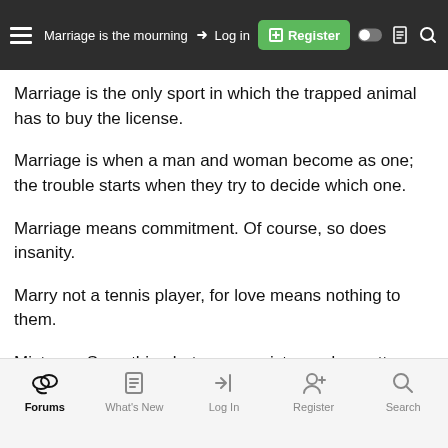Marriage is the mourning after the   Log in   Register
Marriage is the only sport in which the trapped animal has to buy the license.
Marriage is when a man and woman become as one; the trouble starts when they try to decide which one.
Marriage means commitment. Of course, so does insanity.
Marry not a tennis player, for love means nothing to them.
Mistress: Something between a mister and a mattress.
My darling wife was always glum. I drowned her in a cask of rum, and so made sure that she would stay, in better spirits night and
Forums   What's New   Log In   Register   Search